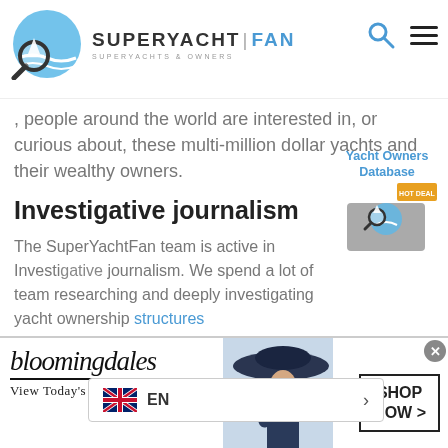[Figure (logo): SuperYachtFan logo with magnifying glass over yacht silhouette and blue circle, with text SUPERYACHT|FAN SUPERYACHTS & OWNERS]
...y people around the world are interested in, or curious about, these multi-million dollar yachts and their wealthy owners.
[Figure (logo): Yacht Owners Database badge with SuperYachtFan logo and HOT DEAL ribbon]
Investigative journalism
The SuperYachtFan team is active in Investigative journalism. We spend a lot of team researching and deeply investigating yacht ownership structures
Our reporting is copied and/or used by many international media companies.
[Figure (screenshot): Language selector popup showing UK flag and EN label with arrow]
[Figure (advertisement): Bloomingdale's advertisement: View Today's Top Deals! with SHOP NOW > button and woman in hat photo]